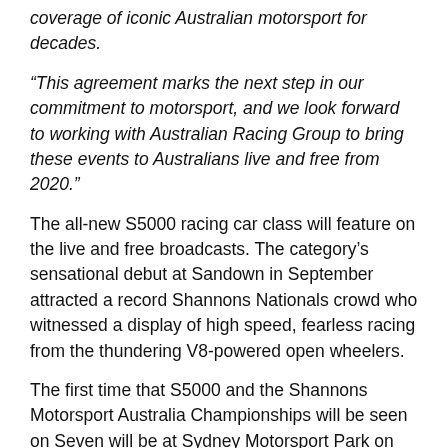coverage of iconic Australian motorsport for decades.
“This agreement marks the next step in our commitment to motorsport, and we look forward to working with Australian Racing Group to bring these events to Australians live and free from 2020.”
The all-new S5000 racing car class will feature on the live and free broadcasts. The category’s sensational debut at Sandown in September attracted a record Shannons Nationals crowd who witnessed a display of high speed, fearless racing from the thundering V8-powered open wheelers.
The first time that S5000 and the Shannons Motorsport Australia Championships will be seen on Seven will be at Sydney Motorsport Park on March 27-29 next year.